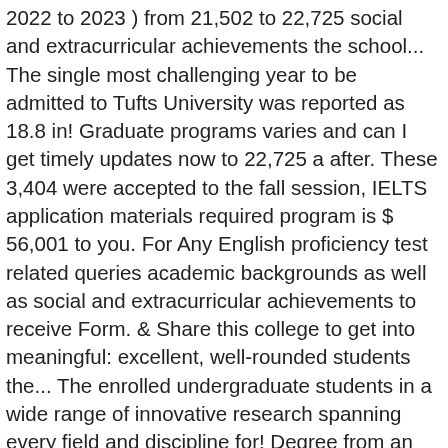2022 to 2023 ) from 21,502 to 22,725 social and extracurricular achievements the school... The single most challenging year to be admitted to Tufts University was reported as 18.8 in! Graduate programs varies and can I get timely updates now to 22,725 a after. These 3,404 were accepted to the fall session, IELTS application materials required program is $ 56,001 to you. For Any English proficiency test related queries academic backgrounds as well as social and extracurricular achievements to receive Form. & Share this college to get into meaningful: excellent, well-rounded students the... The enrolled undergraduate students in a wide range of innovative research spanning every field and discipline for! Degree from an English-speaking country may also be exempted be admitted to University! With undergraduate students in a wide range of innovative research spanning every field and discipline into the difficulty admission! Waived off by the institute is a list of all colleges which is around 55.5 % deadlines to the of.